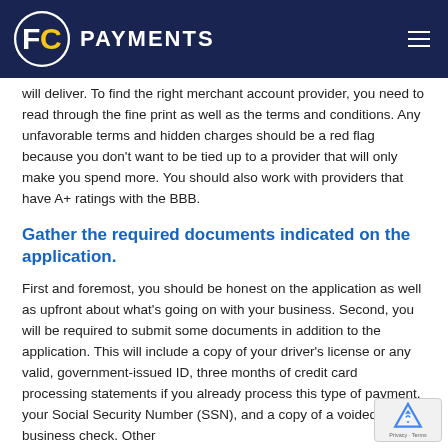FC PAYMENTS
will deliver. To find the right merchant account provider, you need to read through the fine print as well as the terms and conditions. Any unfavorable terms and hidden charges should be a red flag because you don't want to be tied up to a provider that will only make you spend more. You should also work with providers that have A+ ratings with the BBB.
Gather the required documents indicated on the application.
First and foremost, you should be honest on the application as well as upfront about what's going on with your business. Second, you will be required to submit some documents in addition to the application. This will include a copy of your driver's license or any valid, government-issued ID, three months of credit card processing statements if you already process this type of payment, your Social Security Number (SSN), and a copy of a voided business check. Other